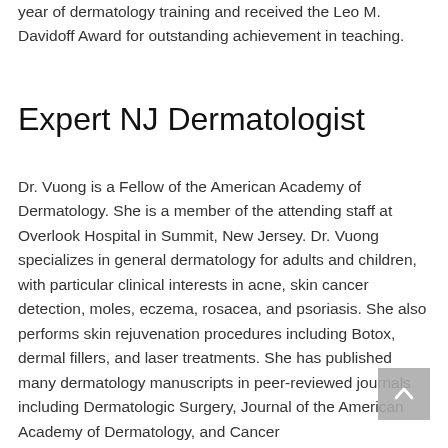year of dermatology training and received the Leo M. Davidoff Award for outstanding achievement in teaching.
Expert NJ Dermatologist
Dr. Vuong is a Fellow of the American Academy of Dermatology. She is a member of the attending staff at Overlook Hospital in Summit, New Jersey. Dr. Vuong specializes in general dermatology for adults and children, with particular clinical interests in acne, skin cancer detection, moles, eczema, rosacea, and psoriasis. She also performs skin rejuvenation procedures including Botox, dermal fillers, and laser treatments. She has published many dermatology manuscripts in peer-reviewed journals including Dermatologic Surgery, Journal of the American Academy of Dermatology, and Cancer